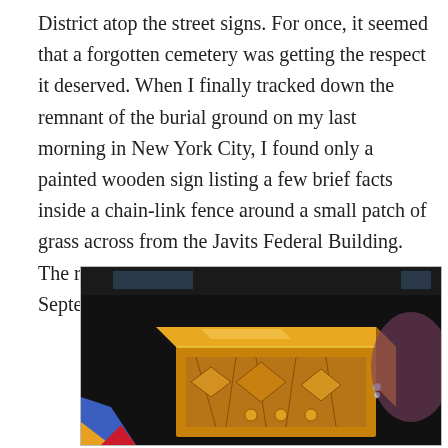District atop the street signs. For once, it seemed that a forgotten cemetery was getting the respect it deserved. When I finally tracked down the remnant of the burial ground on my last morning in New York City, I found only a painted wooden sign listing a few brief facts inside a chain-link fence around a small patch of grass across from the Javits Federal Building. The reburial ceremony had been derailed by September 11, 2001.
[Figure (photo): A photograph of an ornate golden wooden box or chest with carved decorative relief patterns on its sides, displayed against a dark background with a colorful object partially visible in the lower left.]